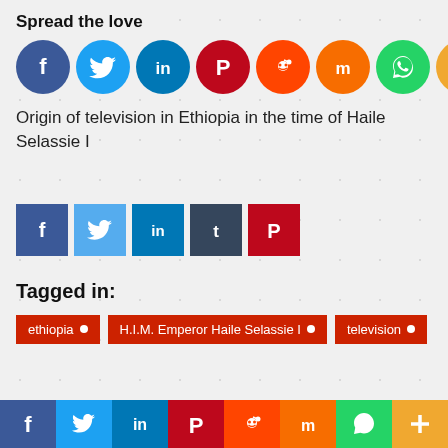Spread the love
[Figure (infographic): Row of circular social media share buttons: Facebook (blue), Twitter (light blue), LinkedIn (dark blue), Pinterest (red), Reddit (orange-red), Mix (orange), WhatsApp (green), More/Plus (yellow-orange)]
Origin of television in Ethiopia in the time of Haile Selassie I
[Figure (infographic): Row of square social media share buttons: Facebook (dark blue), Twitter (light blue), LinkedIn (blue), Tumblr (dark slate), Pinterest (red)]
Tagged in:
ethiopia
H.I.M. Emperor Haile Selassie I
television
[Figure (infographic): Bottom bar with 8 social media icons: Facebook, Twitter, LinkedIn, Pinterest, Reddit, Mix, WhatsApp, More]